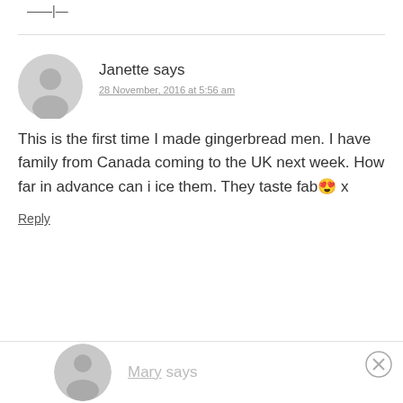——|—
Janette says
28 November, 2016 at 5:56 am
This is the first time I made gingerbread men. I have family from Canada coming to the UK next week. How far in advance can i ice them. They taste fab 😊 x
Reply
Mary says